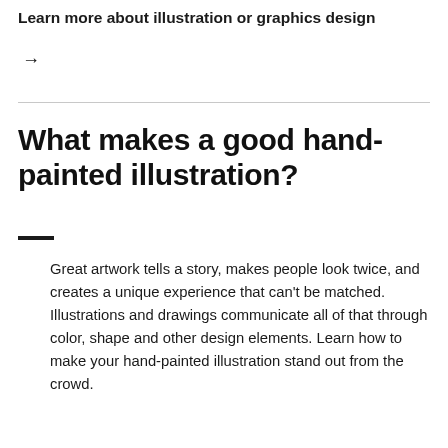Learn more about illustration or graphics design →
What makes a good hand-painted illustration?
Great artwork tells a story, makes people look twice, and creates a unique experience that can't be matched. Illustrations and drawings communicate all of that through color, shape and other design elements. Learn how to make your hand-painted illustration stand out from the crowd.